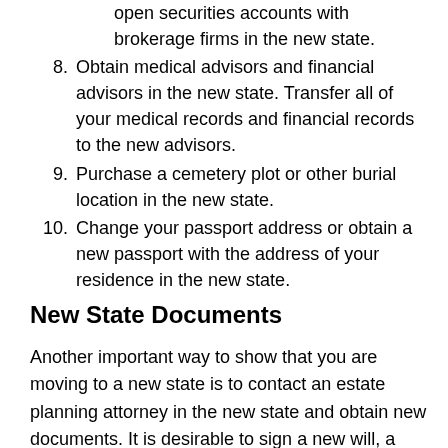open securities accounts with brokerage firms in the new state.
8. Obtain medical advisors and financial advisors in the new state. Transfer all of your medical records and financial records to the new advisors.
9. Purchase a cemetery plot or other burial location in the new state.
10. Change your passport address or obtain a new passport with the address of your residence in the new state.
New State Documents
Another important way to show that you are moving to a new state is to contact an estate planning attorney in the new state and obtain new documents. It is desirable to sign a new will, a living trust, a durable power of attorney for healthcare or advance directive and a power of attorney for financial matters.